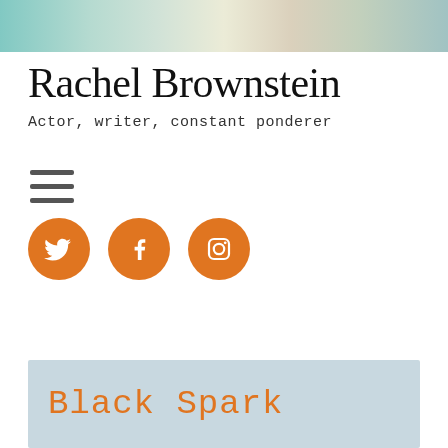[Figure (photo): Abstract painted background image in teal, green, beige tones at the top of the page header]
Rachel Brownstein
Actor, writer, constant ponderer
[Figure (infographic): Hamburger menu icon (three horizontal lines)]
[Figure (infographic): Three orange circular social media icons: Twitter bird, Facebook f, Instagram camera]
[Figure (infographic): Light blue card area with orange handwritten text reading 'Black Spark']